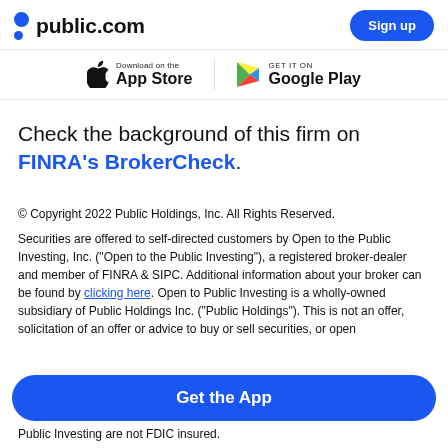public.com  Sign up
[Figure (screenshot): App Store and Google Play download buttons]
Check the background of this firm on FINRA's BrokerCheck.
© Copyright 2022 Public Holdings, Inc. All Rights Reserved.
Securities are offered to self-directed customers by Open to the Public Investing, Inc. ("Open to the Public Investing"), a registered broker-dealer and member of FINRA & SIPC. Additional information about your broker can be found by clicking here. Open to Public Investing is a wholly-owned subsidiary of Public Holdings Inc. ("Public Holdings"). This is not an offer, solicitation of an offer or advice to buy or sell securities, or open
Public Investing are not FDIC insured.
Get the App